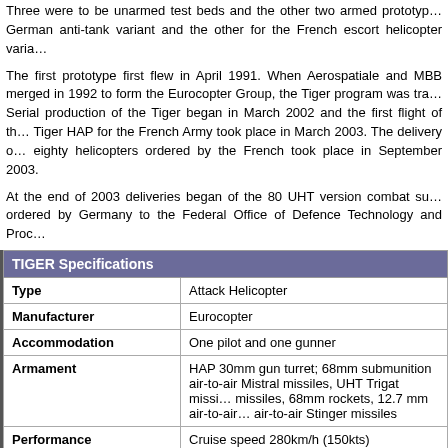Three were to be unarmed test beds and the other two armed prototypes, one for the German anti-tank variant and the other for the French escort helicopter variant.
The first prototype first flew in April 1991. When Aerospatiale and MBB merged in 1992 to form the Eurocopter Group, the Tiger program was transferred. Serial production of the Tiger began in March 2002 and the first flight of the Tiger HAP for the French Army took place in March 2003. The delivery of eighty helicopters ordered by the French took place in September 2003.
At the end of 2003 deliveries began of the 80 UHT version combat support ordered by Germany to the Federal Office of Defence Technology and Procurement.
| TIGER Specifications |  |
| --- | --- |
| Type | Attack Helicopter |
| Manufacturer | Eurocopter |
| Accommodation | One pilot and one gunner |
| Armament | HAP 30mm gun turret; 68mm submunition air-to-air Mistral missiles, UHT Trigat missiles, 68mm rockets, 12.7 mm air-to-air air-to-air Stinger missiles |
| Performance | Cruise speed 280km/h (150kts) |
| Main Rotor Diameter | 51.8ft (15.8m) |
| Length | 46.2ft (14.1m) |
| Height | 12.5ft (3.8m) |
| Weight | max weight 13,060lbs (5,925kg) |